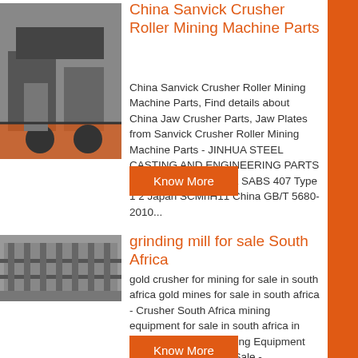China Sanvick Crusher Roller Mining Machine Parts
China Sanvick Crusher Roller Mining Machine Parts, Find details about China Jaw Crusher Parts, Jaw Plates from Sanvick Crusher Roller Mining Machine Parts - JINHUA STEEL CASTING AND ENGINEERING PARTS CO, LTD , South Africa SABS 407 Type 1 2 Japan SCMnH11 China GB/T 5680-2010...
[Figure (photo): Industrial machine part photo, dark industrial setting with orange machinery]
Know More
grinding mill for sale South Africa
gold crusher for mining for sale in south africa gold mines for sale in south africa - Crusher South Africa mining equipment for sale in south africa in South Africa Used Mining Equipment and Surplus Parts for Sale - EquipmentMine Search our database of new, used surplus , Get Price gold prospec, glass bottle crusher for a bar...
[Figure (photo): Industrial grinding mill equipment in a facility]
Know More